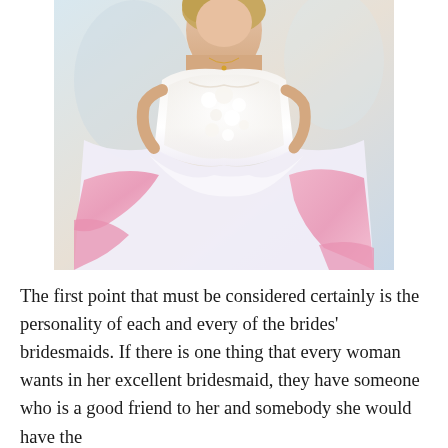[Figure (photo): A bride in a white lace ball gown wedding dress with pink tulle accents, photographed from the shoulders down, showing elaborate floral lace bodice and layered skirt with pink fabric underneath.]
The first point that must be considered certainly is the personality of each and every of the brides' bridesmaids. If there is one thing that every woman wants in her excellent bridesmaid, they have someone who is a good friend to her and somebody she would have the